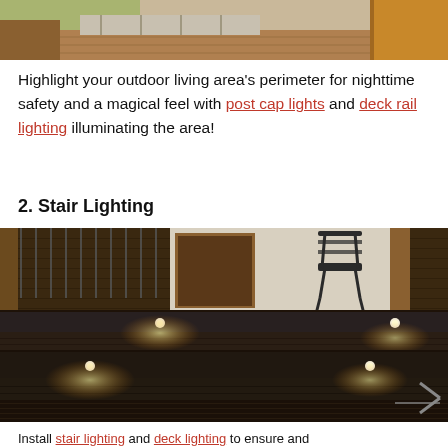[Figure (photo): Top portion of an outdoor deck/patio area with wooden planks and landscaping visible, partially cropped at top of page]
Highlight your outdoor living area's perimeter for nighttime safety and a magical feel with post cap lights and deck rail lighting illuminating the area!
2. Stair Lighting
[Figure (photo): Dark deck stairs with small round recessed LED lights embedded in the stair risers, glowing warm amber, with patio furniture visible in background]
Install stair lighting and deck lighting to...